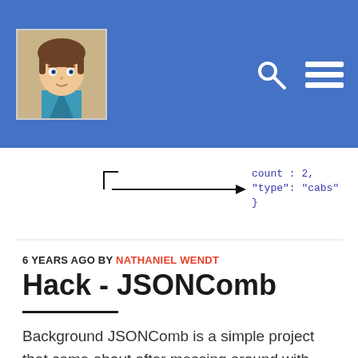Header with avatar logo and navigation icons (search, menu)
[Figure (screenshot): Partial code snippet showing JSON: count: 2, "type": "cabs", } with an arrow pointing right]
6 YEARS AGO BY NATHANIEL WENDT
Hack - JSONComb
Background JSONComb is a simple project that came about after messing around with JSON configuration files that were needlessly repetitive. I had written an evaluation program that used a JSON file to dictate the evaluations to be executed (the project is Etch). I ended up